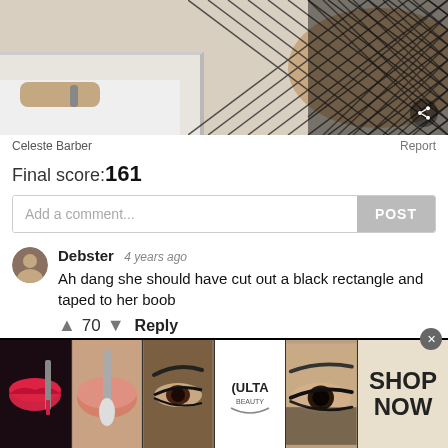[Figure (photo): Screenshot of a social media/web page showing a partial photo of a person in fishnet stockings in a bathtub, followed by comments and an advertisement banner.]
Celeste Barber
Report
Final score:161
Add a comment...
POST
Debster  4 years ago
Ah dang she should have cut out a black rectangle and taped to her boob
↑ 70 ↓  Reply
View More Replies...
View more comments ∨
[Figure (photo): Advertisement banner for ULTA Beauty showing makeup-related images (lips with lipstick brush, face brush, eye with makeup, ULTA logo, dramatic eye makeup) with SHOP NOW call to action.]